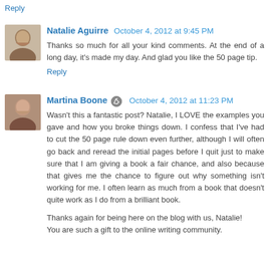Reply
Natalie Aguirre   October 4, 2012 at 9:45 PM
Thanks so much for all your kind comments. At the end of a long day, it's made my day. And glad you like the 50 page tip.
Reply
Martina Boone   October 4, 2012 at 11:23 PM
Wasn't this a fantastic post? Natalie, I LOVE the examples you gave and how you broke things down. I confess that I've had to cut the 50 page rule down even further, although I will often go back and reread the initial pages before I quit just to make sure that I am giving a book a fair chance, and also because that gives me the chance to figure out why something isn't working for me. I often learn as much from a book that doesn't quite work as I do from a brilliant book.
Thanks again for being here on the blog with us, Natalie! You are such a gift to the online writing community.